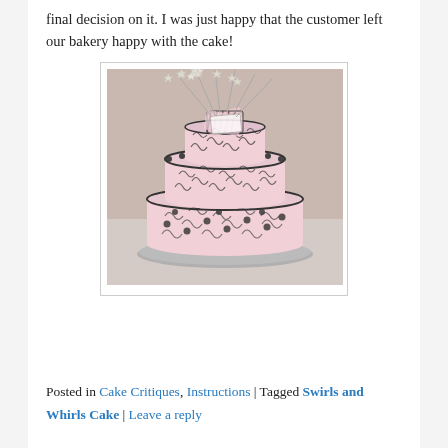final decision on it. I was just happy that the customer left our bakery happy with the cake!
[Figure (photo): A three-tiered decorated cake with pink and black swirls, polka dots, striped ribbons, and star toppers on wire stems, placed on a silver cake board.]
Posted in Cake Critiques, Instructions | Tagged Swirls and Whirls Cake | Leave a reply